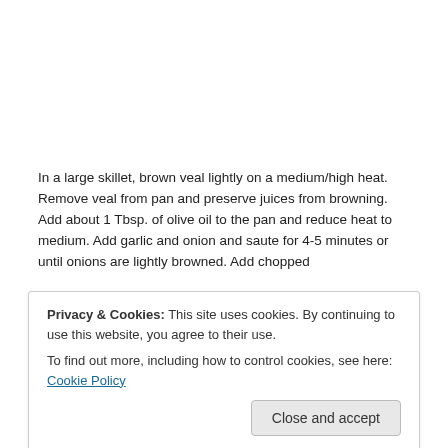In a large skillet, brown veal lightly on a medium/high heat. Remove veal from pan and preserve juices from browning. Add about 1 Tbsp. of olive oil to the pan and reduce heat to medium. Add garlic and onion and saute for 4-5 minutes or until onions are lightly browned. Add chopped
[Figure (photo): Photo of cooking ingredients on a table: bowls with grains/seeds, a small red bowl, glass dishes with spices, and kitchen tools]
Privacy & Cookies: This site uses cookies. By continuing to use this website, you agree to their use.
To find out more, including how to control cookies, see here: Cookie Policy
Close and accept
pepper mixture to taste. Add 1/2 cup of the bread crumbs a little at a time while stirring mixture. You want the bread crumbs to absorb much of the liquid, you may